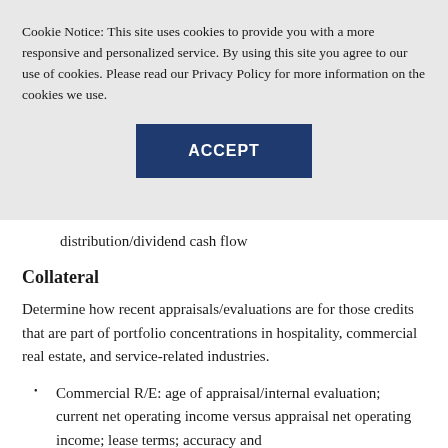Cookie Notice: This site uses cookies to provide you with a more responsive and personalized service. By using this site you agree to our use of cookies. Please read our Privacy Policy for more information on the cookies we use.
ACCEPT
distribution/dividend cash flow
Collateral
Determine how recent appraisals/evaluations are for those credits that are part of portfolio concentrations in hospitality, commercial real estate, and service-related industries.
Commercial R/E: age of appraisal/internal evaluation; current net operating income versus appraisal net operating income; lease terms; accuracy and